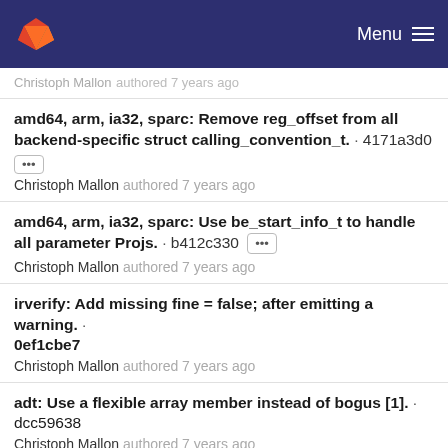GitLab Menu
Christoph Mallon authored 7 years ago
amd64, arm, ia32, sparc: Remove reg_offset from all backend-specific struct calling_convention_t. · 4171a3d0
Christoph Mallon authored 7 years ago
amd64, arm, ia32, sparc: Use be_start_info_t to handle all parameter Projs. · b412c330 [...]
Christoph Mallon authored 7 years ago
irverify: Add missing fine = false; after emitting a warning. · 0ef1cbe7
Christoph Mallon authored 7 years ago
adt: Use a flexible array member instead of bogus [1]. · dcc59638
Christoph Mallon authored 7 years ago
Imprint